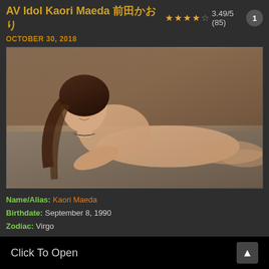AV Idol Kaori Maeda 前田かおり ★★★★☆ 3.49/5 (85)
OCTOBER 30, 2018
[Figure (photo): Photo of Kaori Maeda posed on a couch]
Name/Alias: Kaori Maeda
Birthdate: September 8, 1990
Zodiac: Virgo
Birthplace: Kagoshim...
Blood type: O
Height: 160 cm
Click To Open